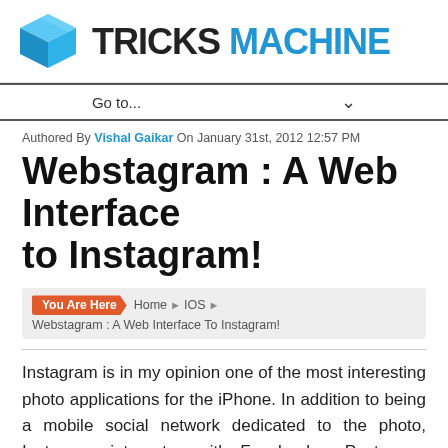[Figure (logo): Tricks Machine logo with blue 3D box icon and text 'TRICKS MACHINE' where TRICKS is dark/black and MACHINE is blue]
Go to...
Authored By Vishal Gaikar On January 31st, 2012 12:57 PM
Webstagram : A Web Interface to Instagram!
You Are Here  Home ▶ IOS ▶ Webstagram : A Web Interface To Instagram!
Instagram is in my opinion one of the most interesting photo applications for the iPhone. In addition to being a mobile social network dedicated to the photo, Instagram integrates with Facebook , Posterous, Tumbler and Flicker. However, it lacks a Web interface that allows you to interact over the Web...